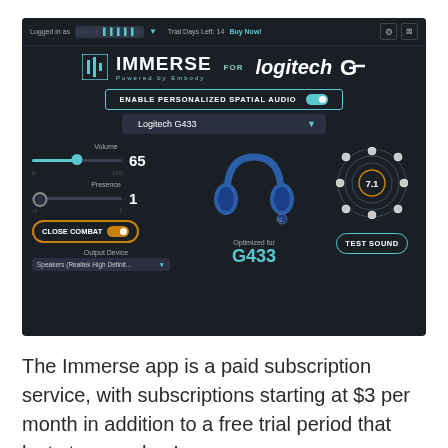[Figure (screenshot): Screenshot of the Immerse for Logitech G spatial audio software application. Shows top bar with logged-in user, trial days left (14), Buy Now link, settings icons. Center shows IMMERSE FOR logitech G logo, ENABLE PERSONALIZED SPATIAL AUDIO toggle (on), Logitech G433 headset dropdown, Volume slider at 65, Presence slider at 1, CLOSE COMBAT toggle (on), Output Device dropdown showing Speakers (Realtek High Definit...), a blue Logitech G433 headset image with 'Optimized for G433' label, a 7.1 surround sound ring diagram, and a TEST SOUND button.]
The Immerse app is a paid subscription service, with subscriptions starting at $3 per month in addition to a free trial period that lasts two weeks. I